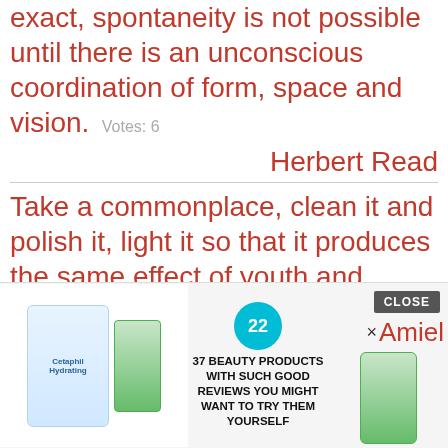exact, spontaneity is not possible until there is an unconscious coordination of form, space and vision.  Votes: 6
Herbert Read
Take a commonplace, clean it and polish it, light it so that it produces the same effect of youth and freshness and originality and spontaneity as it did originally, and you have done a poet's job. The rest is literature.  Votes: 6
Jean Cocteau
Analysis kills spontaneity.  Votes: 5
Amiel
[Figure (infographic): Advertisement banner: Cetaphil and Weleda product images on left, teal circle with number 22 and bold headline '37 BEAUTY PRODUCTS WITH SUCH GOOD REVIEWS YOU MIGHT WANT TO TRY THEM YOURSELF', Weleda bottle on right with CLOSE button and X Amiel text]